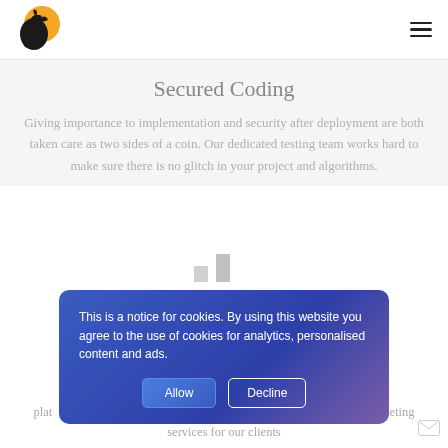[Figure (logo): Horse/animal logo with orange sun shape and dark animal silhouette]
Secured Coding
Giving importance to implementation and security after deployment are both taken care as two sides of a coin. Our dedicated testing team works hard to make sure there is no glitch in your project and algorithms.
[Figure (bar-chart): Partial bar chart visible at bottom of content area]
This is a notice for cookies. By using this website you agree to the use of cookies for analytics, personalised content and ads.
To ... digital plat... ...e of a vast range of digital marketing services for our clients